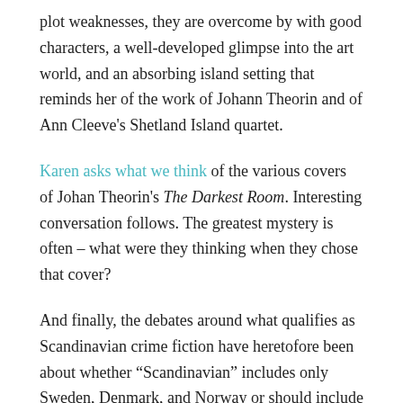plot weaknesses, they are overcome by with good characters, a well-developed glimpse into the art world, and an absorbing island setting that reminds her of the work of Johann Theorin and of Ann Cleeve's Shetland Island quartet.
Karen asks what we think of the various covers of Johan Theorin's The Darkest Room. Interesting conversation follows. The greatest mystery is often – what were they thinking when they chose that cover?
And finally, the debates around what qualifies as Scandinavian crime fiction have heretofore been about whether “Scandinavian” includes only Sweden, Denmark, and Norway or should include Finland and Iceland. Purists would say those are Nordic, but not Scandinavian